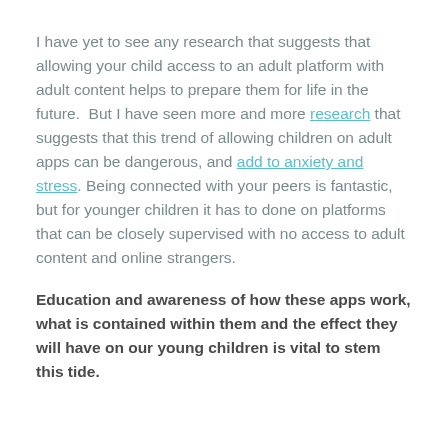I have yet to see any research that suggests that allowing your child access to an adult platform with adult content helps to prepare them for life in the future.  But I have seen more and more research that suggests that this trend of allowing children on adult apps can be dangerous, and add to anxiety and stress. Being connected with your peers is fantastic, but for younger children it has to done on platforms that can be closely supervised with no access to adult content and online strangers.
Education and awareness of how these apps work, what is contained within them and the effect they will have on our young children is vital to stem this tide.